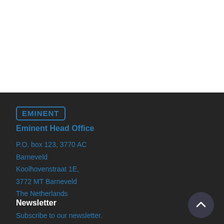[Figure (logo): EMINENT logo in a rounded rectangle border, blue text on dark background]
Eminent Head Office
P.O. box 123, 3770 AC
Barneveld
Koolhovenstraat 1E,
3772 MT Barneveld
The Netherlands
Newsletter
Subscribe to our newsletter.